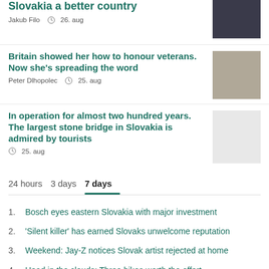Slovakia a better country
Jakub Filo  26. aug
Britain showed her how to honour veterans. Now she’s spreading the word
Peter Dlhopolec  25. aug
In operation for almost two hundred years. The largest stone bridge in Slovakia is admired by tourists
25. aug
24 hours   3 days   7 days
Bosch eyes eastern Slovakia with major investment
'Silent killer' has earned Slovaks unwelcome reputation
Weekend: Jay-Z notices Slovak artist rejected at home
Head in the clouds: Three hikes worth the effort
Permanent residence unattainable for Slovak-Argentinian